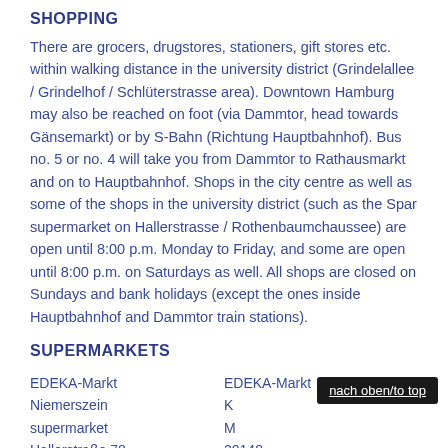SHOPPING
There are grocers, drugstores, stationers, gift stores etc. within walking distance in the university district (Grindelallee / Grindelhof / Schlüterstrasse area). Downtown Hamburg may also be reached on foot (via Dammtor, head towards Gänsemarkt) or by S-Bahn (Richtung Hauptbahnhof). Bus no. 5 or no. 4 will take you from Dammtor to Rathausmarkt and on to Hauptbahnhof. Shops in the city centre as well as some of the shops in the university district (such as the Spar supermarket on Hallerstrasse / Rothenbaumchaussee) are open until 8:00 p.m. Monday to Friday, and some are open until 8:00 p.m. on Saturdays as well. All shops are closed on Sundays and bank holidays (except the ones inside Hauptbahnhof and Dammtor train stations).
SUPERMARKETS
EDEKA-Markt Niemerszein supermarket Hallerstraße 78
EDEKA-Markt K... M... 20148 Hamburg